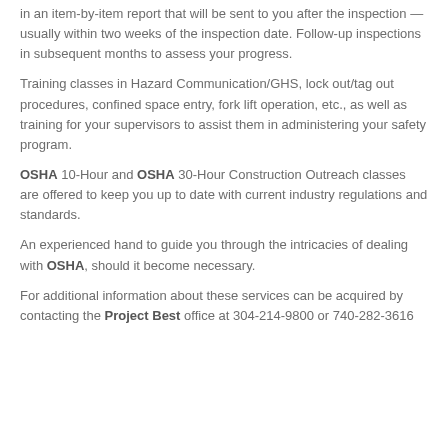in an item-by-item report that will be sent to you after the inspection — usually within two weeks of the inspection date. Follow-up inspections in subsequent months to assess your progress.
Training classes in Hazard Communication/GHS, lock out/tag out procedures, confined space entry, fork lift operation, etc., as well as training for your supervisors to assist them in administering your safety program.
OSHA 10-Hour and OSHA 30-Hour Construction Outreach classes are offered to keep you up to date with current industry regulations and standards.
An experienced hand to guide you through the intricacies of dealing with OSHA, should it become necessary.
For additional information about these services can be acquired by contacting the Project Best office at 304-214-9800 or 740-282-3616